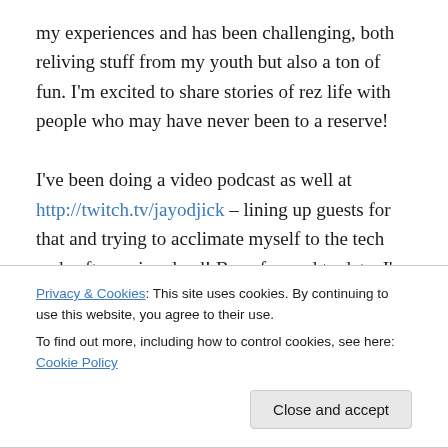my experiences and has been challenging, both reliving stuff from my youth but also a ton of fun. I'm excited to share stories of rez life with people who may have never been to a reserve!

I've been doing a video podcast as well at http://twitch.tv/jayodjick – lining up guests for that and trying to acclimate myself to the tech and software involved! Been fun and to date, I've had on a biologist with a specialization in ecosystems and a medieval historian to discuss what we can learn from plagues in the past in our
Privacy & Cookies: This site uses cookies. By continuing to use this website, you agree to their use.
To find out more, including how to control cookies, see here: Cookie Policy
Close and accept